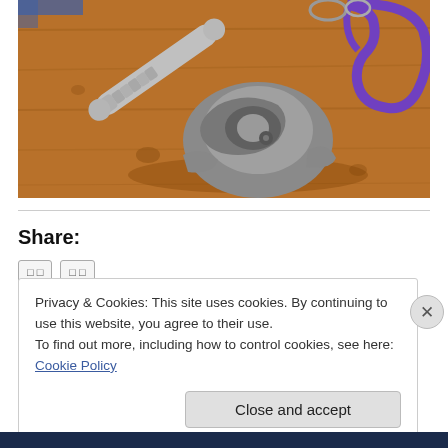[Figure (photo): Photo of metallic multi-tool and carabiner on a wooden surface]
Share:
Privacy & Cookies: This site uses cookies. By continuing to use this website, you agree to their use.
To find out more, including how to control cookies, see here: Cookie Policy
Close and accept